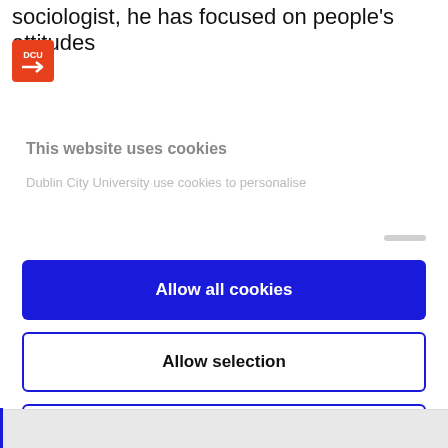sociologist, he has focused on people's attitudes
[Figure (logo): DCU (Dublin City University) logo — orange square with white arrow and DCU text]
This website uses cookies
Dublin City University use cookies to personalise
Allow all cookies
Allow selection
Use necessary cookies only
Powered by Cookiebot by Usercentrics